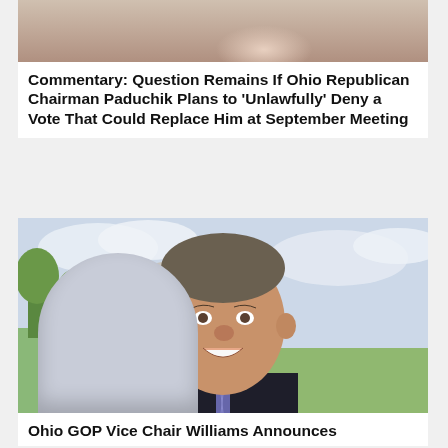[Figure (photo): Partial photo of a person in a dark suit at the top of the page, cropped to show only the upper torso and hands]
Commentary: Question Remains If Ohio Republican Chairman Paduchik Plans to 'Unlawfully' Deny a Vote That Could Replace Him at September Meeting
[Figure (photo): Professional headshot of Ohio GOP Vice Chair Williams smiling, wearing a dark suit and striped tie, with the Ohio Statehouse capitol building visible in the background]
Ohio GOP Vice Chair Williams Announces